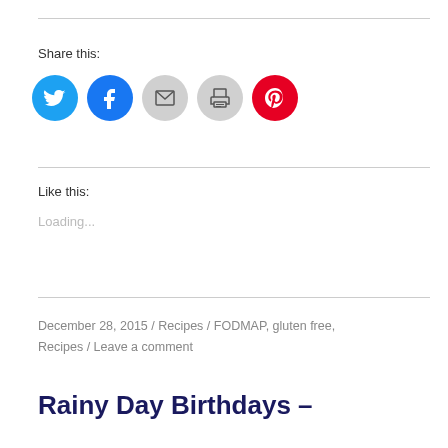Share this:
[Figure (infographic): Social share icons: Twitter (blue bird), Facebook (blue f), Email (grey envelope), Print (grey printer), Pinterest (red P)]
Like this:
Loading...
December 28, 2015 / Recipes / FODMAP, gluten free, Recipes / Leave a comment
Rainy Day Birthdays –